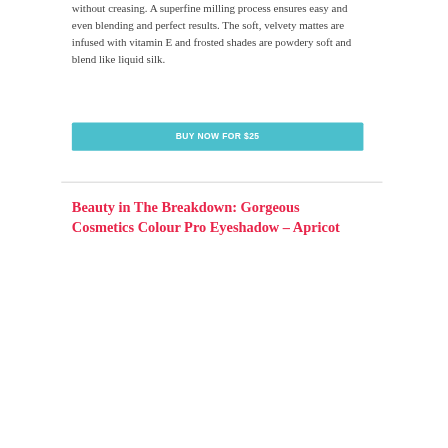without creasing. A superfine milling process ensures easy and even blending and perfect results. The soft, velvety mattes are infused with vitamin E and frosted shades are powdery soft and blend like liquid silk.
BUY NOW FOR $25
Beauty in The Breakdown: Gorgeous Cosmetics Colour Pro Eyeshadow – Apricot